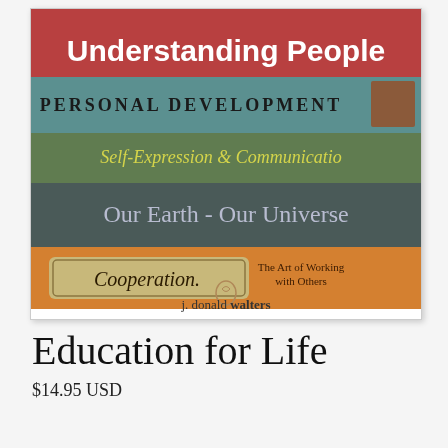[Figure (photo): Stack of books with spines showing titles: 'Understanding People' (red book, white bold text), 'Personal Development' (teal book, dark text with small brown label), 'Self-Expression & Communication' (green book, yellow-green italic text), 'Our Earth - Our Universe' (dark gray-green book, light lavender serif text), 'Cooperation. The Art of Working with Others' (orange book, script/serif text with ornate label). Below books: a small logo and 'j. donald walters' text.]
Education for Life
$14.95 USD